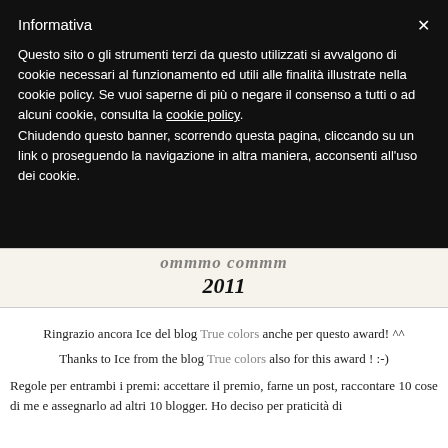Informativa
Questo sito o gli strumenti terzi da questo utilizzati si avvalgono di cookie necessari al funzionamento ed utili alle finalità illustrate nella cookie policy. Se vuoi saperne di più o negare il consenso a tutti o ad alcuni cookie, consulta la cookie policy. Chiudendo questo banner, scorrendo questa pagina, cliccando su un link o proseguendo la navigazione in altra maniera, acconsenti all'uso dei cookie.
[Figure (illustration): Partially visible decorative blog banner with italic text and year 2011 on a cream background]
Ringrazio ancora Ice del blog True colors anche per questo award! ^^
Thanks to Ice from the blog True colors also for this award ! :-)
Regole per entrambi i premi: accettare il premio, farne un post, raccontare 10 cose di me e assegnarlo ad altri 10 blogger. Ho deciso per praticità di